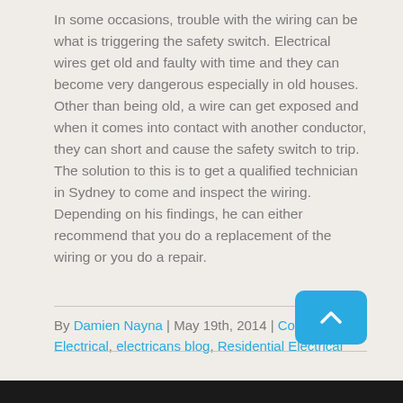In some occasions, trouble with the wiring can be what is triggering the safety switch. Electrical wires get old and faulty with time and they can become very dangerous especially in old houses. Other than being old, a wire can get exposed and when it comes into contact with another conductor, they can short and cause the safety switch to trip. The solution to this is to get a qualified technician in Sydney to come and inspect the wiring. Depending on his findings, he can either recommend that you do a replacement of the wiring or you do a repair.
By Damien Nayna | May 19th, 2014 | Commercial Electrical, electricans blog, Residential Electrical